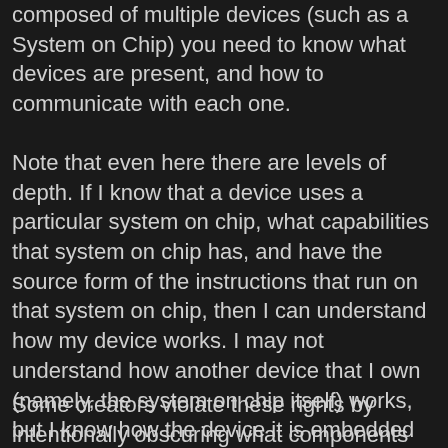composed of multiple devices (such as a System on Chip) you need to know what devices are present, and how to communicate with each one.
Note that even here there are levels of depth. If I know that a device uses a particular system on chip, what capabilities that system on chip has, and have the source form of the instructions that run on that system on chip, then I can understand how my device works. I may not understand how another device that I own (namely, the system on chip itself) works, but I know how the device it is embedded within works. And so we have devices within devices, possibly further nested than this. Really we do need the freedom to study how all our devices work. However, if our freedom is restricted on one device that might not necessarily restrict our freedoms with respect to devices made out of that device.
Some creators violate these rights by intentionally obscuring what components they have used. Sometimes laws exist to prevent anyone from studying some components